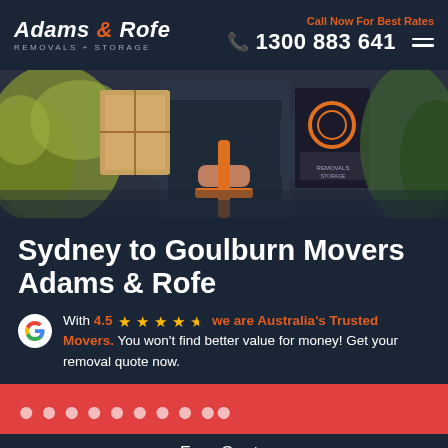Adams & Rofe REMOVALS + STORAGE | Call Now For Best Rates | 1300 883 641
[Figure (photo): Photo of a removalist worker in dark uniform carrying cardboard boxes and using a hand truck with orange handle, outdoors with greenery in background]
Sydney to Goulburn Movers Adams & Rofe
With 4.5 ★★★★½ we are Australia's Trusted Movers. You won't find better value for money! Get your removal quote now.
Free Quote